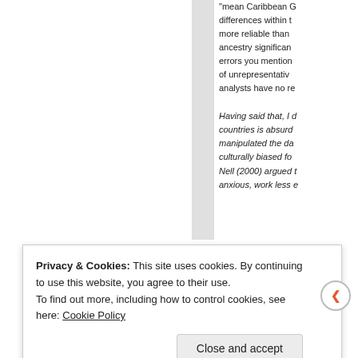"mean Caribbean G... differences within t... more reliable than ... ancestry significan... errors you mention... of unrepresentativ... analysts have no re...
Having said that, I d... countries is absurd ... manipulated the da... culturally biased fo... Nell (2000) argued t... anxious, work less e...
Privacy & Cookies: This site uses cookies. By continuing to use this website, you agree to their use.
To find out more, including how to control cookies, see here: Cookie Policy